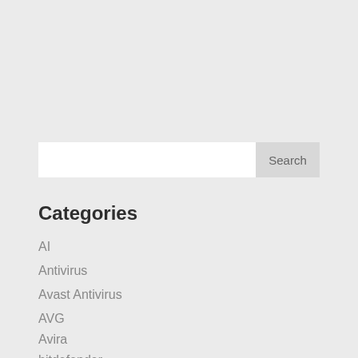[Figure (screenshot): Search input box with a Search button on the right]
Categories
AI
Antivirus
Avast Antivirus
AVG
Avira
bitdefender